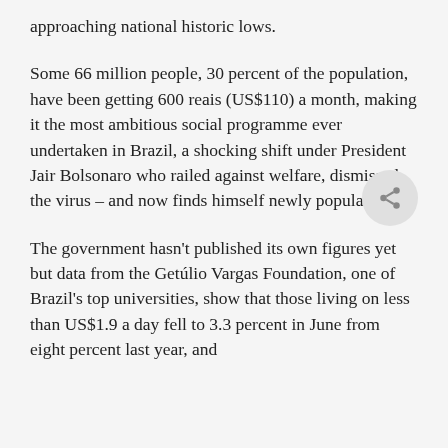approaching national historic lows.
Some 66 million people, 30 percent of the population, have been getting 600 reais (US$110) a month, making it the most ambitious social programme ever undertaken in Brazil, a shocking shift under President Jair Bolsonaro who railed against welfare, dismissed the virus – and now finds himself newly popular.
The government hasn't published its own figures yet but data from the Getúlio Vargas Foundation, one of Brazil's top universities, show that those living on less than US$1.9 a day fell to 3.3 percent in June from eight percent last year, and